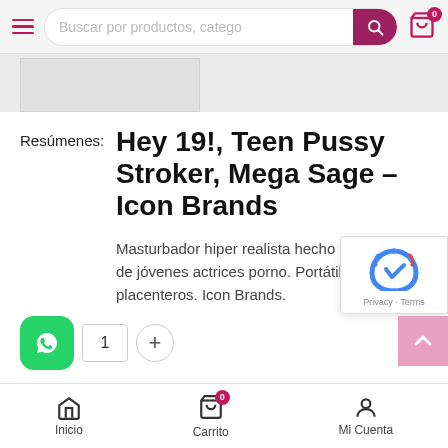Buscar por productos, catego
[Figure (screenshot): Partial product image placeholder (light grey rectangle)]
Resúmenes:
Hey 19!, Teen Pussy Stroker, Mega Sage – Icon Brands
Masturbador hiper realista hecho con moldes de jóvenes actrices porno. Portátil. suave y placenteros. Icon Brands.
[Figure (logo): WhatsApp green icon button]
1
Inicio   Carrito 0   Mi Cuenta